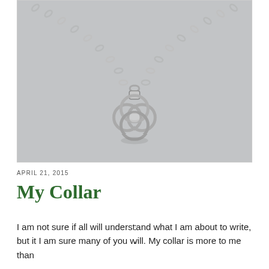[Figure (photo): A silver chain necklace with a decorative interlocked rings pendant (love knot style), photographed against a light gray background.]
APRIL 21, 2015
My Collar
I am not sure if all will understand what I am about to write, but it I am sure many of you will. My collar is more to me than